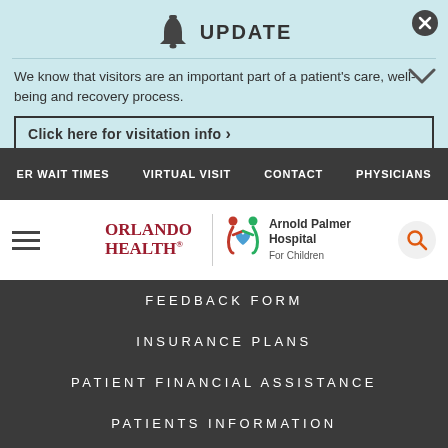UPDATE
We know that visitors are an important part of a patient's care, well-being and recovery process.
Click here for visitation info ›
ER WAIT TIMES   VIRTUAL VISIT   CONTACT   PHYSICIANS
[Figure (logo): Orlando Health | Arnold Palmer Hospital For Children logo]
FEEDBACK FORM
INSURANCE PLANS
PATIENT FINANCIAL ASSISTANCE
PATIENTS INFORMATION
REFILL MY PRESCRIPTION